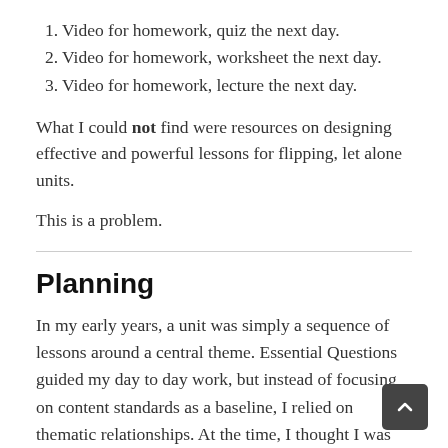1. Video for homework, quiz the next day.
2. Video for homework, worksheet the next day.
3. Video for homework, lecture the next day.
What I could not find were resources on designing effective and powerful lessons for flipping, let alone units.
This is a problem.
Planning
In my early years, a unit was simply a sequence of lessons around a central theme. Essential Questions guided my day to day work, but instead of focusing on content standards as a baseline, I relied on thematic relationships. At the time, I thought I was giving myself freedom to explore related ideas no “prescribed in the curriculum.” In reality, I was making more work for myself as I pulled ideas in without a guiding framework. On top of cherry-picking